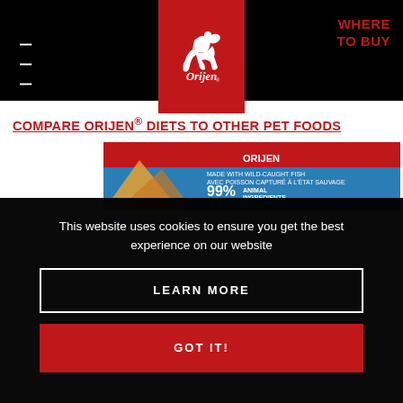[Figure (logo): Orijen pet food logo — white script lettering on red banner background with small dog silhouette]
WHERE TO BUY
COMPARE ORIJEN® DIETS TO OTHER PET FOODS
[Figure (photo): Partial view of an Orijen cat food product package in blue and red, showing text '99% Animal Ingredients']
This website uses cookies to ensure you get the best experience on our website
LEARN MORE
GOT IT!